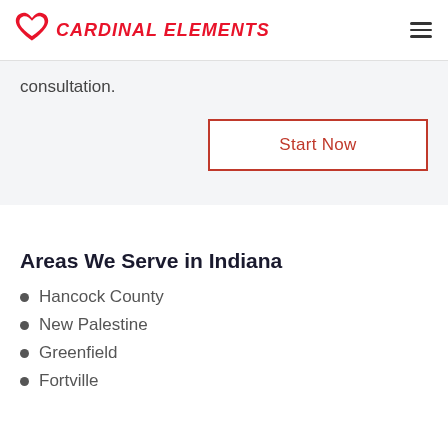CARDINAL ELEMENTS
consultation.
Start Now
Areas We Serve in Indiana
Hancock County
New Palestine
Greenfield
Fortville